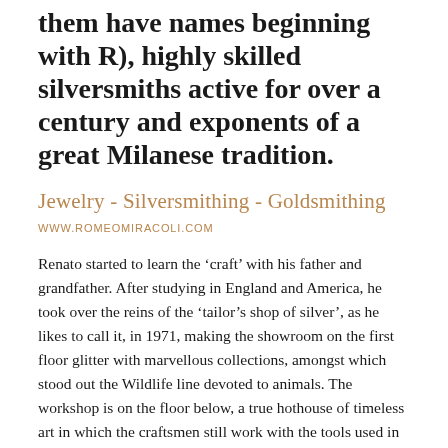them have names beginning with R), highly skilled silversmiths active for over a century and exponents of a great Milanese tradition.
Jewelry - Silversmithing - Goldsmithing
WWW.ROMEOMIRACOLI.COM
Renato started to learn the ‘craft’ with his father and grandfather. After studying in England and America, he took over the reins of the ‘tailor’s shop of silver’, as he likes to call it, in 1971, making the showroom on the first floor glitter with marvellous collections, amongst which stood out the Wildlife line devoted to animals. The workshop is on the floor below, a true hothouse of timeless art in which the craftsmen still work with the tools used in the old days.